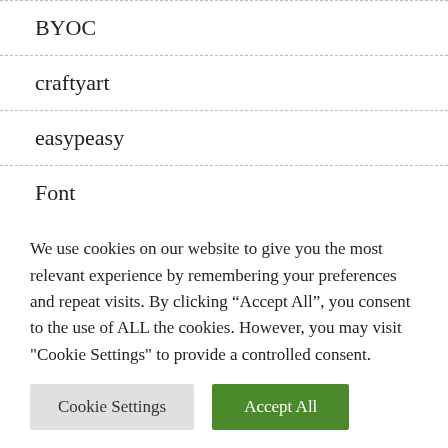BYOC
craftyart
easypeasy
Font
Freebie
Inspiration
We use cookies on our website to give you the most relevant experience by remembering your preferences and repeat visits. By clicking “Accept All”, you consent to the use of ALL the cookies. However, you may visit "Cookie Settings" to provide a controlled consent.
Cookie Settings | Accept All